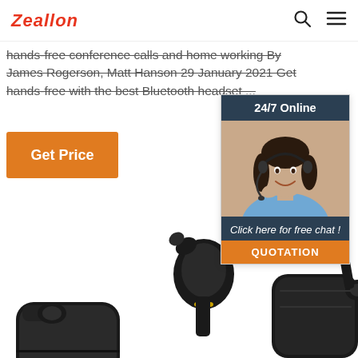Zeallon
hands-free conference calls and home working By James Rogerson, Matt Hanson 29 January 2021 Get hands-free with the best Bluetooth headset ...
Get Price
[Figure (infographic): Side panel with '24/7 Online' header, woman wearing a headset customer service photo, 'Click here for free chat!' text, and 'QUOTATION' orange button]
[Figure (photo): Black wireless Bluetooth earbuds and charging case products shown at the bottom of the page]